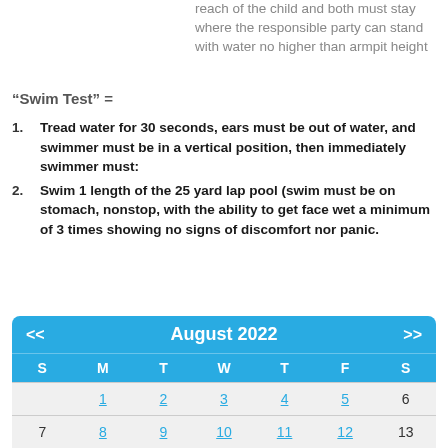reach of the child and both must stay where the responsible party can stand with water no higher than armpit height
“Swim Test” =
Tread water for 30 seconds, ears must be out of water, and swimmer must be in a vertical position, then immediately swimmer must:
Swim 1 length of the 25 yard lap pool (swim must be on stomach, nonstop, with the ability to get face wet a minimum of 3 times showing no signs of discomfort nor panic.
| S | M | T | W | T | F | S |
| --- | --- | --- | --- | --- | --- | --- |
|  | 1 | 2 | 3 | 4 | 5 | 6 |
| 7 | 8 | 9 | 10 | 11 | 12 | 13 |